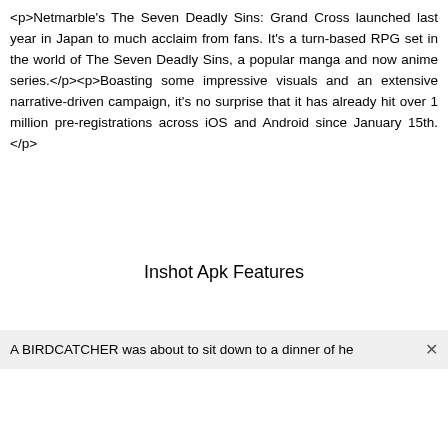<p>Netmarble's The Seven Deadly Sins: Grand Cross launched last year in Japan to much acclaim from fans. It's a turn-based RPG set in the world of The Seven Deadly Sins, a popular manga and now anime series.</p><p>Boasting some impressive visuals and an extensive narrative-driven campaign, it's no surprise that it has already hit over 1 million pre-registrations across iOS and Android since January 15th.</p>
Inshot Apk Features
A BIRDCATCHER was about to sit down to a dinner of he